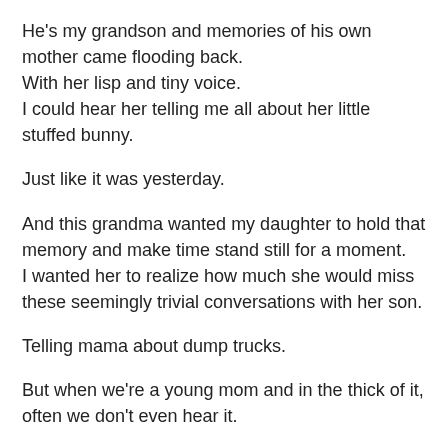He's my grandson and memories of his own mother came flooding back.
With her lisp and tiny voice.
I could hear her telling me all about her little stuffed bunny.
Just like it was yesterday.
And this grandma wanted my daughter to hold that memory and make time stand still for a moment.
I wanted her to realize how much she would miss these seemingly trivial conversations with her son.
Telling mama about dump trucks.
But when we're a young mom and in the thick of it, often we don't even hear it.
They talk and talk and talk...
It is non stop.